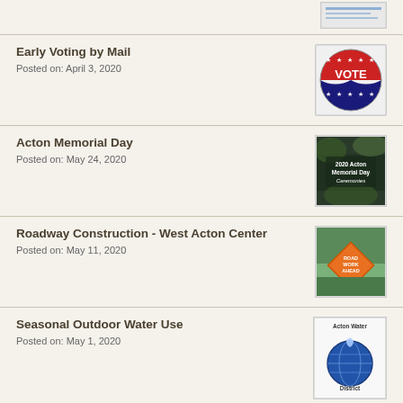[Figure (screenshot): Partial top image - a screenshot/document thumbnail]
Early Voting by Mail
Posted on: April 3, 2020
[Figure (illustration): Red white and blue VOTE button/badge with stars]
Acton Memorial Day
Posted on: May 24, 2020
[Figure (photo): 2020 Acton Memorial Day Ceremonies sign/banner on dark background]
Roadway Construction - West Acton Center
Posted on: May 11, 2020
[Figure (photo): Orange diamond Road Work Ahead sign]
Seasonal Outdoor Water Use
Posted on: May 1, 2020
[Figure (logo): Acton Water District logo with globe and water imagery]
Housing Production Plan - Updated Information
Posted on: April 30, 2020
[Figure (photo): Housing Production Plan document cover with building photo]